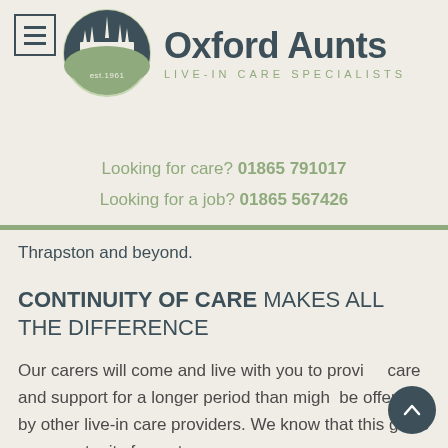[Figure (logo): Oxford Aunts logo: circular icon with dark teal silhouette of city spires over a sage green hill with 'est. 1961', beside bold text 'Oxford Aunts' and subtitle 'LIVE-IN CARE SPECIALISTS']
Looking for care? 01865 791017
Looking for a job? 01865 567426
Thrapston and beyond.
CONTINUITY OF CARE MAKES ALL THE DIFFERENCE
Our carers will come and live with you to provide care and support for a longer period than might be offered by other live-in care providers. We know that this gives an opportunity for a strong